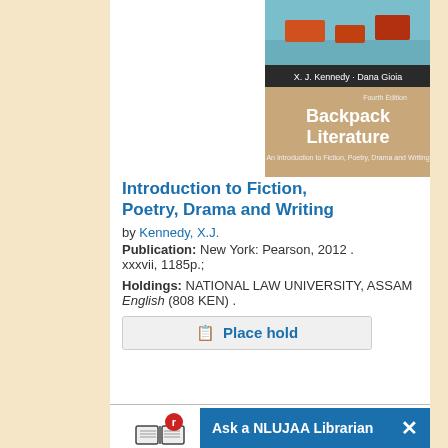[Figure (photo): Book cover of Backpack Literature: An Introduction to Fiction, Poetry, Drama and Writing by X.J. Kennedy and Dana Gioia, Fourth Edition]
Introduction to Fiction, Poetry, Drama and Writing
by Kennedy, X.J.
Publication: New York: Pearson, 2012 .
xxxvii, 1185p.;
Holdings: NATIONAL LAW UNIVERSITY, ASSAM English (808 KEN) .
Place hold
[Figure (logo): Reserve Book icon with letter R]
Special Collection
Beyond the Intellectual Property: Matching Information Protec...
Kingston...
[Figure (photo): Book cover of Beyond the Intellectual Property: Matching Information Protection to Innovation]
Ask a NLUJAA Librarian